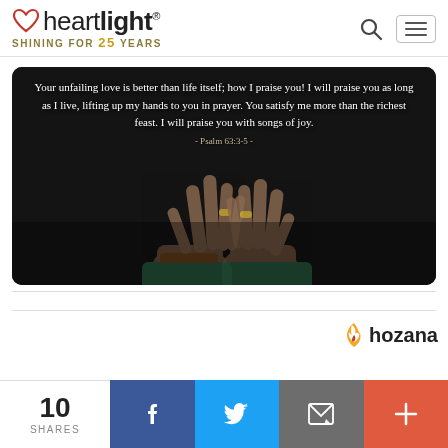heartlight® — SHINING FOR 25 YEARS
[Figure (photo): Dark background image of two hands raised in prayer with fingers interlocked, person wearing a green sleeve and brown bracelet. Overlaid white text reads: 'Your unfailing love is better than life itself; how I praise you! I will praise you as long as I live, lifting up my hands to you in prayer. You satisfy me more than the richest feast. I will praise you with songs of joy.' with reference '- Psalm 63:3-5 -']
10 SHARES
hozana
10 SHARES | Facebook | Twitter | Email | More